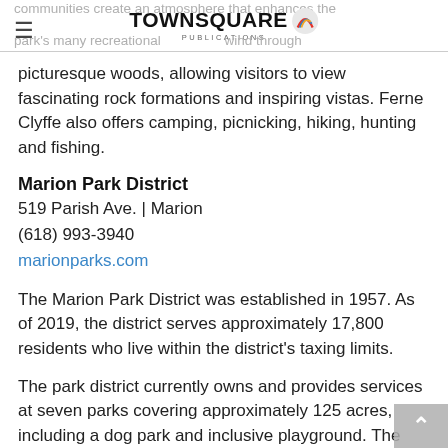TOWNSQUARE PUBLICATIONS
communities create an atmosphere that enhances the park's many recreational ... wind through picturesque woods, allowing visitors to view fascinating rock formations and inspiring vistas. Ferne Clyffe also offers camping, picnicking, hiking, hunting and fishing.
Marion Park District
519 Parish Ave. | Marion
(618) 993-3940
marionparks.com
The Marion Park District was established in 1957. As of 2019, the district serves approximately 17,800 residents who live within the district's taxing limits.
The park district currently owns and provides services at seven parks covering approximately 125 acres, including a dog park and inclusive playground. The district also offers an aquatic center, pickleball complex, disc golf